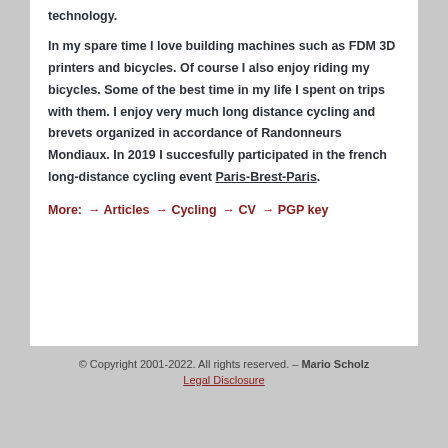technology.
In my spare time I love building machines such as FDM 3D printers and bicycles. Of course I also enjoy riding my bicycles. Some of the best time in my life I spent on trips with them. I enjoy very much long distance cycling and brevets organized in accordance of Randonneurs Mondiaux. In 2019 I succesfully participated in the french long-distance cycling event Paris-Brest-Paris.
More:  → Articles  → Cycling  → CV  → PGP key
© Copyright 2001-2022. All rights reserved. – Mario Scholz
Legal Disclosure